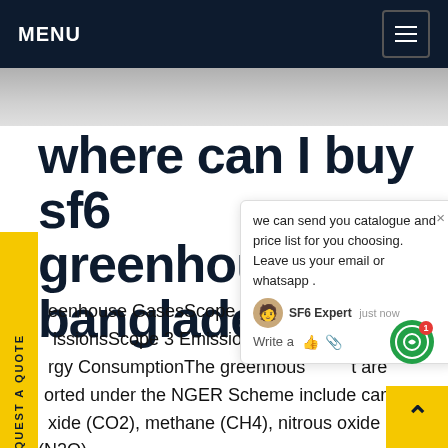MENU
where can I buy sf6 greenhouse gas bangladesh
greenhouse GasesScope 1 Emissions: EmissionsScope 3 EmissionsEnergy Consumption The greenhouse gases that are reported under the NGER Scheme include carbon dioxide (CO2), methane (CH4), nitrous oxide (N2O), sulphur hexafluoride (Sulfr hexafluoride) and specified kinds of hydro fluorocarbons and perfluorocarbons. When reporting emissions, energy production and energy consumption data, only the activities of a greenhouse gas reporting facility ...